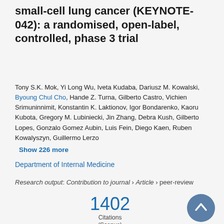small-cell lung cancer (KEYNOTE-042): a randomised, open-label, controlled, phase 3 trial
Tony S.K. Mok, Yi Long Wu, Iveta Kudaba, Dariusz M. Kowalski, Byoung Chul Cho, Hande Z. Turna, Gilberto Castro, Vichien Srimuninnimit, Konstantin K. Laktionov, Igor Bondarenko, Kaoru Kubota, Gregory M. Lubiniecki, Jin Zhang, Debra Kush, Gilberto Lopes, Gonzalo Gomez Aubin, Luis Fein, Diego Kaen, Ruben Kowalyszyn, Guillermo Lerzo
Show 226 more
Department of Internal Medicine
Research output: Contribution to journal › Article › peer-review
1402 Citations (Scopus)